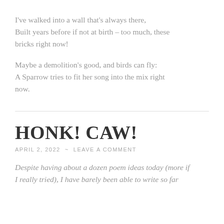I've walked into a wall that's always there,
Built years before if not at birth – too much, these bricks right now!
Maybe a demolition's good, and birds can fly:
A Sparrow tries to fit her song into the mix right now.
HONK! CAW!
APRIL 2, 2022  ~  LEAVE A COMMENT
Despite having about a dozen poem ideas today (more if I really tried), I have barely been able to write so far